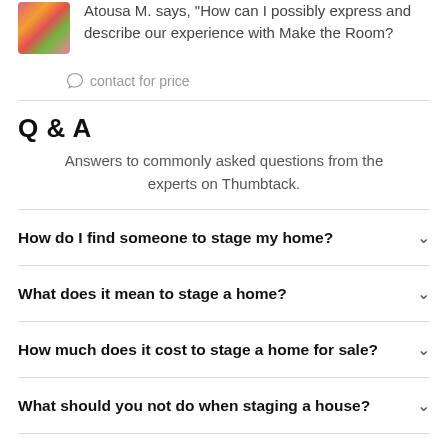Atousa M. says, "How can I possibly express and describe our experience with Make the Room?
contact for price
Q & A
Answers to commonly asked questions from the experts on Thumbtack.
How do I find someone to stage my home?
What does it mean to stage a home?
How much does it cost to stage a home for sale?
What should you not do when staging a house?